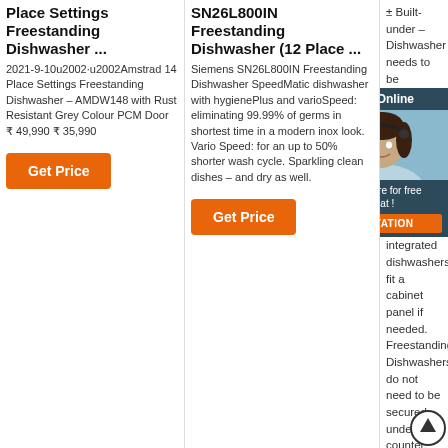Place Settings Freestanding Dishwasher ...
2021-9-10u2002·u2002Amstrad 14 Place Settings Freestanding Dishwasher – AMDW148 with Rust Resistant Grey Colour PCM Door ₹ 49,990 ₹ 35,990
Get Price
SN26L800IN Freestanding Dishwasher (12 Place ...
Siemens SN26L800IN Freestanding Dishwasher SpeedMatic dishwasher with hygienePlus and varioSpeed: eliminating 99.99% of germs in shortest time in a modern inox look. Vario Speed: for an up to 50% shorter wash cycle. Sparkling clean dishes – and dry as well.
Get Price
± Built-under – Dishwasher needs to be secured under a counter with supplied brackets and screws. Our integrated dishwashers fit a cabinet panel if needed. Freestanding Dishwashers do not need to be secured under a counter. They can remain as a freestanding unit or fit into a cavity.
Get Price
[Figure (illustration): Chat widget showing a woman with headset and 24/7 Online label, with Click here for free chat and QUOTATION button]